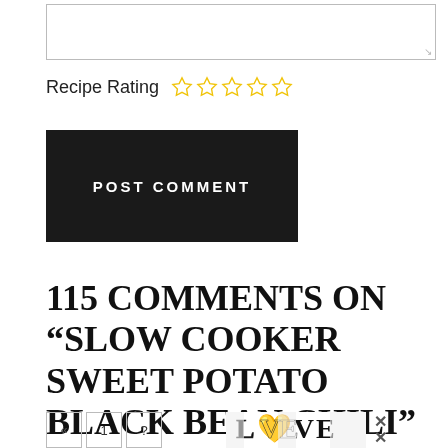[Figure (other): Textarea input box for comment]
Recipe Rating ☆☆☆☆☆
[Figure (other): POST COMMENT button (black rectangle with white uppercase text)]
115 COMMENTS ON “SLOW COOKER SWEET POTATO BLACK BEAN CHILI”
[Figure (other): Pagination buttons showing « 1 ? and an advertisement image with LOVE text art and close X buttons]